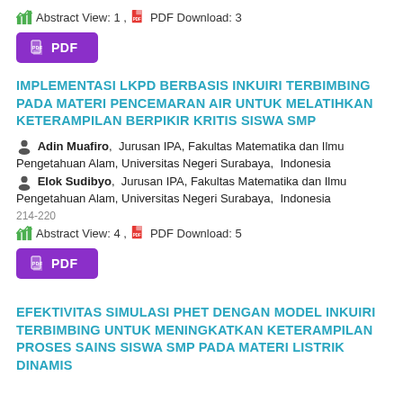Abstract View: 1 , PDF Download: 3
[Figure (other): Purple PDF download button]
IMPLEMENTASI LKPD BERBASIS INKUIRI TERBIMBING PADA MATERI PENCEMARAN AIR UNTUK MELATIHKAN KETERAMPILAN BERPIKIR KRITIS SISWA SMP
Adin Muafiro, Jurusan IPA, Fakultas Matematika dan Ilmu Pengetahuan Alam, Universitas Negeri Surabaya, Indonesia
Elok Sudibyo, Jurusan IPA, Fakultas Matematika dan Ilmu Pengetahuan Alam, Universitas Negeri Surabaya, Indonesia
214-220
Abstract View: 4 , PDF Download: 5
[Figure (other): Purple PDF download button]
EFEKTIVITAS SIMULASI PhET DENGAN MODEL INKUIRI TERBIMBING UNTUK MENINGKATKAN KETERAMPILAN PROSES SAINS SISWA SMP PADA MATERI LISTRIK DINAMIS